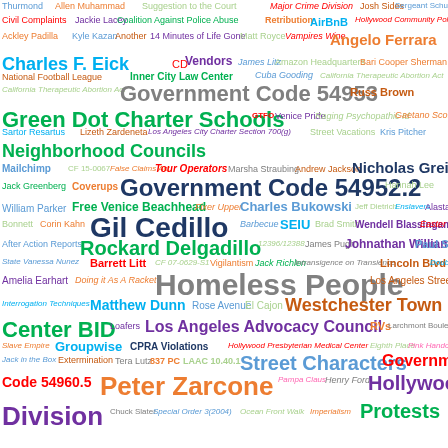[Figure (infographic): Word cloud featuring terms related to Los Angeles government, public policy, and community issues. Key terms include: Government Code 54953, Government Code 54952.2, Gil Cedillo, Rockard Delgadillo, Homeless People, Westchester Town Center BID, Los Angeles Advocacy Council, Peter Zarcone, Hollywood Division, Protests, Neighborhood Councils, Charles Bukowski, Street Characters, CPRA Violations, Barrett Litt, Free Venice Beachhead, Charles F. Eick, Angelo Ferrara, Green Dot Charter Schools, Nicholas Greif, and many others in various colors and sizes.]